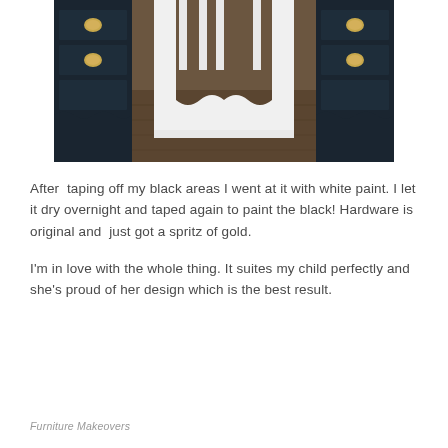[Figure (photo): Photo of a dresser/chest of drawers painted in black and white with gold brass hardware pulls, set against a dark wood floor background. White chair legs visible in the center.]
After  taping off my black areas I went at it with white paint. I let it dry overnight and taped again to paint the black! Hardware is original and  just got a spritz of gold.
I'm in love with the whole thing. It suites my child perfectly and she's proud of her design which is the best result.
Furniture Makeovers